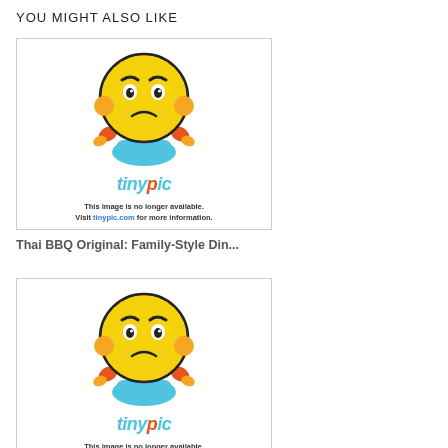YOU MIGHT ALSO LIKE
[Figure (photo): Tinypic placeholder image showing a frustrated cartoon emoji character with the message 'This image is no longer available. Visit tinypic.com for more information.']
Thai BBQ Original: Family-Style Din...
[Figure (photo): Tinypic placeholder image showing a frustrated cartoon emoji character with the message 'This image is no longer available. Visit tinypic.com for more information.']
How to Take Your Love for Food to t...